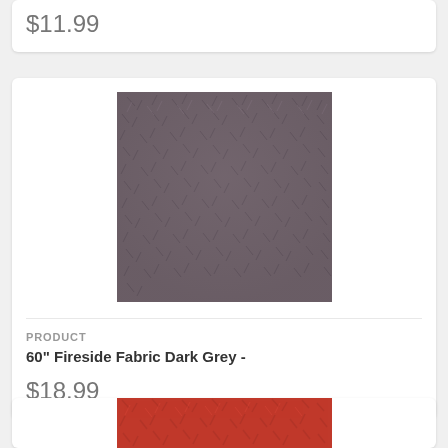$11.99
[Figure (photo): Close-up photo of dark grey furry/fluffy fabric texture]
PRODUCT
60" Fireside Fabric Dark Grey -
$18.99
[Figure (photo): Bottom portion of a red fabric texture, partially visible]